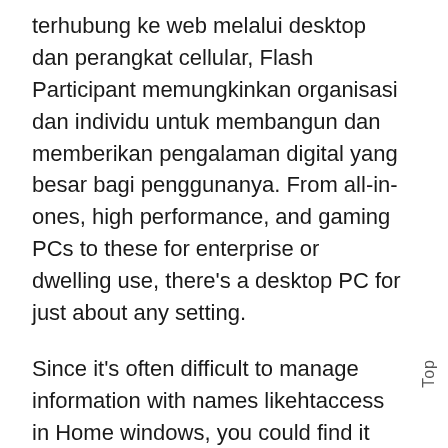terhubung ke web melalui desktop dan perangkat cellular, Flash Participant memungkinkan organisasi dan individu untuk membangun dan memberikan pengalaman digital yang besar bagi penggunanya. From all-in-ones, high performance, and gaming PCs to these for enterprise or dwelling use, there's a desktop PC for just about any setting.
Since it's often difficult to manage information with names likehtaccess in Home windows, you could find it useful to alter the title of this per-directory configuration file using the AccessFilename directive. AppleCare products provide additional hardware
Top